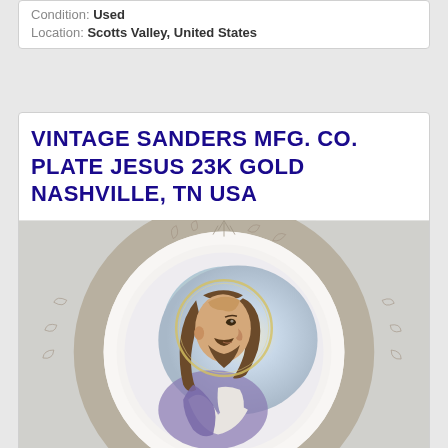Condition: Used   Location: Scotts Valley, United States
VINTAGE SANDERS MFG. CO. PLATE JESUS 23K GOLD NASHVILLE, TN USA
[Figure (photo): A decorative ceramic plate with a portrait of Jesus Christ in the center, shown in profile facing right, with long brown hair and beard, wearing white and purple robes with a halo behind his head. The plate has an ornate gold/silver floral pattern along the scalloped rim. The plate is displayed on a small brown wooden easel stand against a white fabric background.]